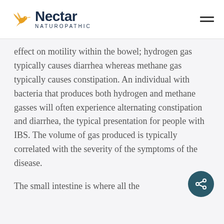Nectar Naturopathic
effect on motility within the bowel; hydrogen gas typically causes diarrhea whereas methane gas typically causes constipation. An individual with bacteria that produces both hydrogen and methane gasses will often experience alternating constipation and diarrhea, the typical presentation for people with IBS. The volume of gas produced is typically correlated with the severity of the symptoms of the disease.
The small intestine is where all the